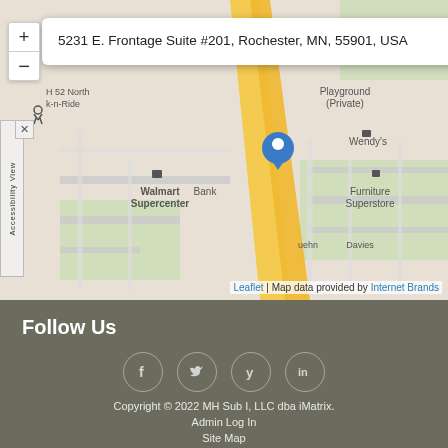[Figure (map): Street map showing location at 5231 E. Frontage Suite #201, Rochester, MN, 55901, USA. Map shows nearby landmarks including Walmart Supercenter, Wendy's, Furniture Superstore, Playground (Private), Bank, and streets H 52 North, k-n-Ride, Davies, uehn. A blue map pin marks the location. Map attributed to Leaflet and Internet Brands.]
Follow Us
Copyright © 2022 MH Sub I, LLC dba iMatrix.
Admin Log In
Site Map